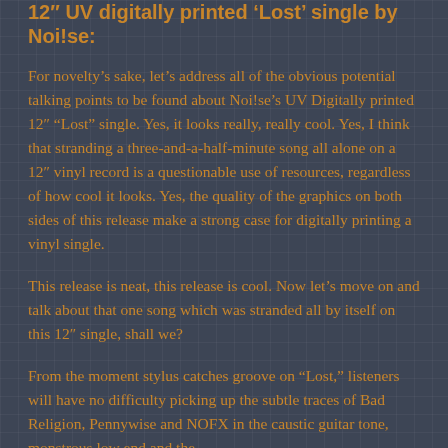12″ UV digitally printed 'Lost' single by Noi!se:
For novelty's sake, let's address all of the obvious potential talking points to be found about Noi!se's UV Digitally printed 12" "Lost" single. Yes, it looks really, really cool. Yes, I think that stranding a three-and-a-half-minute song all alone on a 12" vinyl record is a questionable use of resources, regardless of how cool it looks. Yes, the quality of the graphics on both sides of this release make a strong case for digitally printing a vinyl single.
This release is neat, this release is cool. Now let's move on and talk about that one song which was stranded all by itself on this 12" single, shall we?
From the moment stylus catches groove on "Lost," listeners will have no difficulty picking up the subtle traces of Bad Religion, Pennywise and NOFX in the caustic guitar tone, monstrous low end and the